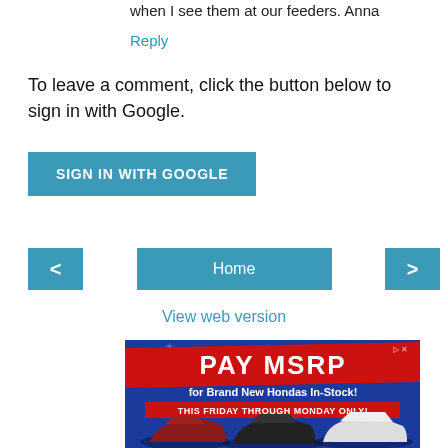when I see them at our feeders. Anna
Reply
To leave a comment, click the button below to sign in with Google.
SIGN IN WITH GOOGLE
< Home >
View web version
[Figure (photo): Advertisement banner: PAY MSRP for Brand New Hondas In-Stock! THIS FRIDAY THROUGH MONDAY ONLY! Shows three Honda cars on a blue background with stars.]